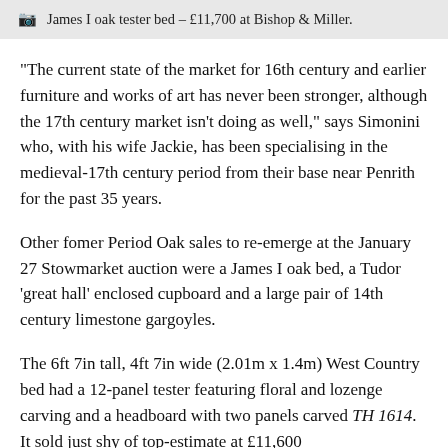James I oak tester bed – £11,700 at Bishop & Miller.
“The current state of the market for 16th century and earlier furniture and works of art has never been stronger, although the 17th century market isn’t doing as well,” says Simonini who, with his wife Jackie, has been specialising in the medieval-17th century period from their base near Penrith for the past 35 years.
Other fomer Period Oak sales to re-emerge at the January 27 Stowmarket auction were a James I oak bed, a Tudor ‘great hall’ enclosed cupboard and a large pair of 14th century limestone gargoyles.
The 6ft 7in tall, 4ft 7in wide (2.01m x 1.4m) West Country bed had a 12-panel tester featuring floral and lozenge carving and a headboard with two panels carved TH 1614. It sold just shy of top-estimate at £11,600